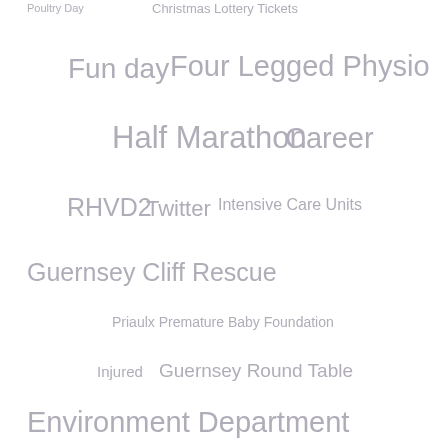[Figure (infographic): Tag cloud / word cloud showing various topics in different font sizes, all in a muted gray-purple color. Topics include: Poultry Day, Christmas Lottery Tickets, Fun day, Four Legged Physio, Half Marathon, Career, RHVD2, Twitter, Intensive Care Units, Guernsey Cliff Rescue, Priaulx Premature Baby Foundation, Injured, Guernsey Round Table, Environment Department, Specsavers, Ringing birds, Volunteer News, Barras Car Centre, Ceva Awards for Animal Welfare 2014, Pup, Gig, Dog walk, Cat Quality of Life study, Chicks, Vauvert Primary School, Telephone, Complaints, L'Etiennerie Farm, Ambulance, Youthe, Animal Animals, Team Building]